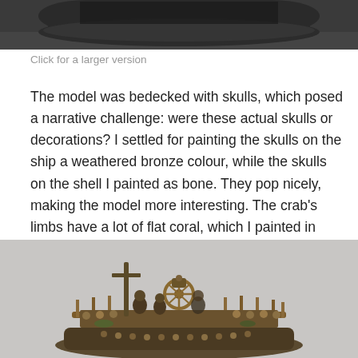[Figure (photo): Top portion of a painted miniature model on a dark base, cropped at the top of the page.]
Click for a larger version
The model was bedecked with skulls, which posed a narrative challenge: were these actual skulls or decorations? I settled for painting the skulls on the ship a weathered bronze colour, while the skulls on the shell I painted as bone. They pop nicely, making the model more interesting. The crab's limbs have a lot of flat coral, which I painted in muted yellows and reds, giving them very pale edges as I think that’s a very recognizable look!
[Figure (photo): A detailed painted miniature model of a ship mounted on a crab shell, featuring bronze skulls, a steering wheel, cross, and various nautical details, photographed against a light grey background.]